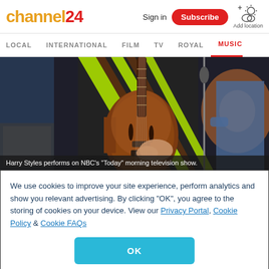channel24 | Sign in | Subscribe | Add location
LOCAL | INTERNATIONAL | FILM | TV | ROYAL | MUSIC
[Figure (photo): Person playing a hollow-body electric guitar, wearing a black and lime green striped outfit, performing on stage with microphone and stage lighting in background.]
Harry Styles performs on NBC's "Today" morning television show.
We use cookies to improve your site experience, perform analytics and show you relevant advertising. By clicking "OK", you agree to the storing of cookies on your device. View our Privacy Portal, Cookie Policy & Cookie FAQs